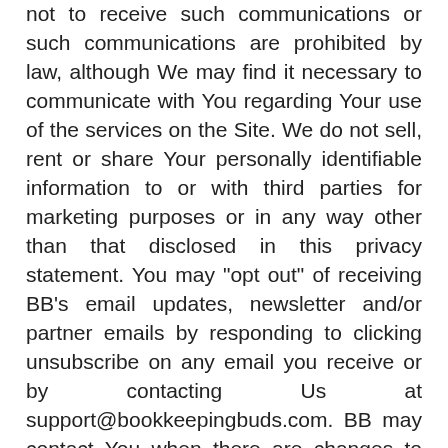not to receive such communications or such communications are prohibited by law, although We may find it necessary to communicate with You regarding Your use of the services on the Site. We do not sell, rent or share Your personally identifiable information to or with third parties for marketing purposes or in any way other than that disclosed in this privacy statement. You may "opt out" of receiving BB's email updates, newsletter and/or partner emails by responding to clicking unsubscribe on any email you receive or by contacting Us at support@bookkeepingbuds.com. BB may contact You when there are changes to the Terms of Service or Terms & Conditions, as applicable. In addition, We might send You strictly service-related announcements on rare occasions when it is necessary to do so. For instance, if Our service is temporarily suspended for maintenance, We might